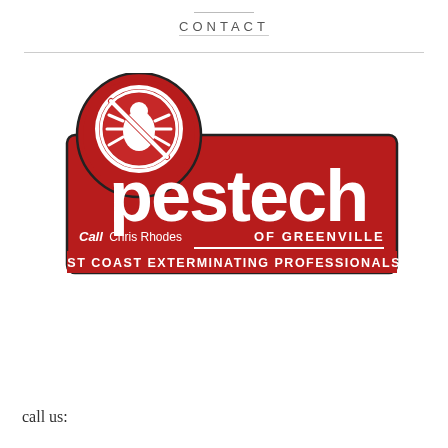CONTACT
[Figure (logo): Pestech of Greenville logo — red badge shape with a pest inside a red circle with a cross-out symbol forming the letter P. Text reads: pestech OF GREENVILLE, Call Chris Rhodes, EAST COAST EXTERMINATING PROFESSIONALS]
call us: